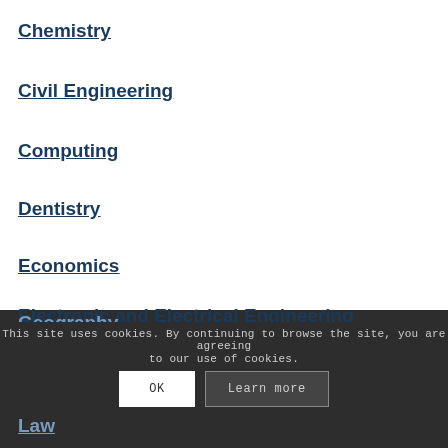Chemistry
Civil Engineering
Computing
Dentistry
Economics
Electronic and Electrical Engineering
English
Geography
History
This site uses cookies. By continuing to browse the site, you are agreeing to our use of cookies.
Law